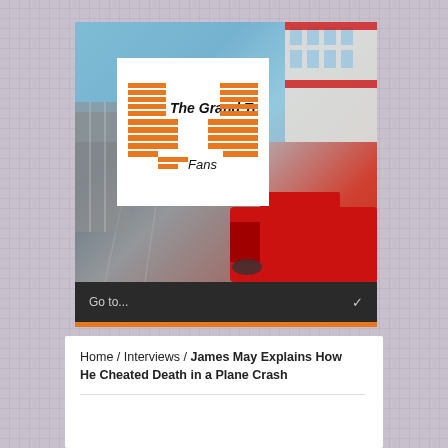[Figure (logo): The Grand Tour Fans logo — orange striped GT speedometer graphic with 'The Grand Tour' text above and 'Fans' below, on white background, overlaid on a photo of a racing circuit with a red car]
Go to...
Home / Interviews / James May Explains How He Cheated Death in a Plane Crash